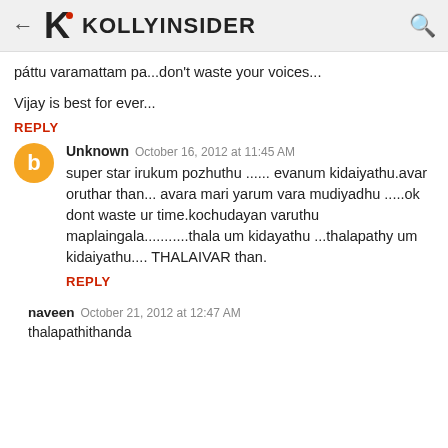KOLLYINSIDER
pattu varamattam pa...don't waste your voices...
Vijay is best for ever...
REPLY
Unknown  October 16, 2012 at 11:45 AM
super star irukum pozhuthu ...... evanum kidaiyathu.avar oruthar than... avara mari yarum vara mudiyadhu .....ok dont waste ur time.kochudayan varuthu maplaingala...........thala um kidayathu ...thalapathy um kidaiyathu.... THALAIVAR than.
REPLY
naveen  October 21, 2012 at 12:47 AM
thalapathithanda